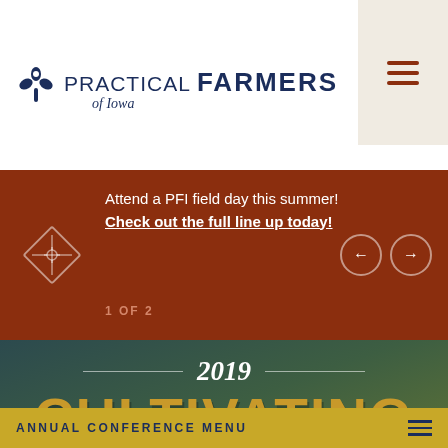[Figure (logo): Practical Farmers of Iowa logo with plant icon and text]
Attend a PFI field day this summer! Check out the full line up today!
1 OF 2
[Figure (illustration): 2019 Cultivating Connections annual conference banner with teal-green gradient background and decorative plant silhouette]
ANNUAL CONFERENCE MENU